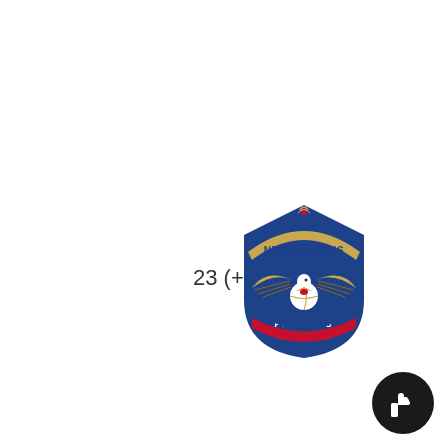23 (+2)
[Figure (logo): New Orleans Pelicans NBA team logo — a pelican with spread wings on a navy blue shield shape with 'NEW ORLEANS' text in gold arc at top and 'PELICANS' in red banner at bottom]
[Figure (illustration): Black circular button with a white thumbs-up icon in the bottom-right corner]